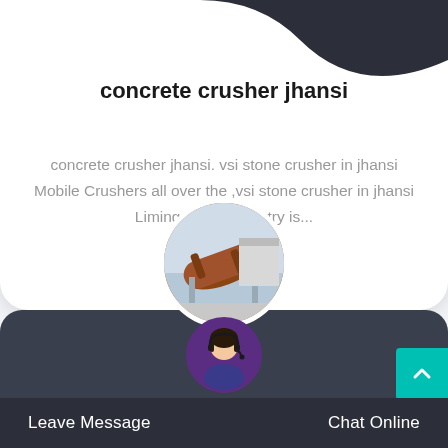concrete crusher jhansi
concrete crusher jhansi. vsi stone crusher in jhansi Mobile Crushers all over the ,vsi stone crusher in jhansi Liming heavy industry is...
[Figure (photo): Circular image of industrial rotating drum/kiln machinery in brown/rust color]
[Figure (photo): Circular avatar of a female customer service representative wearing a headset]
Leave Message   Chat Online